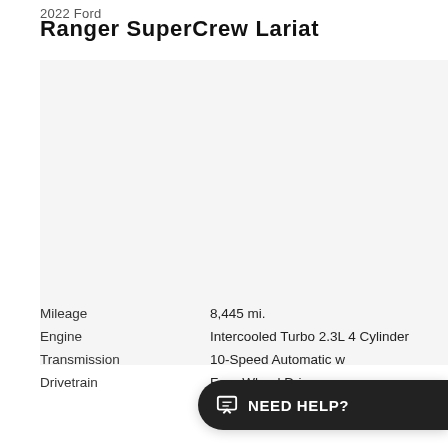2022 Ford
Ranger SuperCrew Lariat
[Figure (photo): Vehicle photo area - white/light gray background, image of 2022 Ford Ranger SuperCrew Lariat]
Mileage	8,445 mi.
Engine	Intercooled Turbo 2.3L 4 Cylinder
Transmission	10-Speed Automatic w
Drivetrain	Four-Wheel Drive